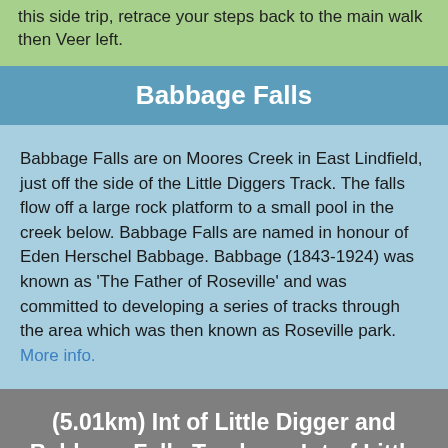this side trip, retrace your steps back to the main walk then Veer left.
Babbage Falls
Babbage Falls are on Moores Creek in East Lindfield, just off the side of the Little Diggers Track. The falls flow off a large rock platform to a small pool in the creek below. Babbage Falls are named in honour of Eden Herschel Babbage. Babbage (1843-1924) was known as 'The Father of Roseville' and was committed to developing a series of tracks through the area which was then known as Roseville park. More info.
(5.01km) Int of Little Digger and Babbage Falls Tracks → Int of Little Digger and Little Falls Tracks